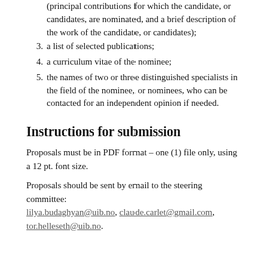(principal contributions for which the candidate, or candidates, are nominated, and a brief description of the work of the candidate, or candidates);
3. a list of selected publications;
4. a curriculum vitae of the nominee;
5. the names of two or three distinguished specialists in the field of the nominee, or nominees, who can be contacted for an independent opinion if needed.
Instructions for submission
Proposals must be in PDF format – one (1) file only, using a 12 pt. font size.
Proposals should be sent by email to the steering committee: lilya.budaghyan@uib.no, claude.carlet@gmail.com, tor.helleseth@uib.no.